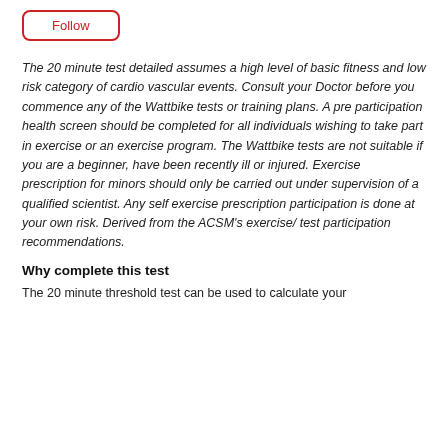[Figure (other): A red-bordered 'Follow' button]
The 20 minute test detailed assumes a high level of basic fitness and low risk category of cardio vascular events. Consult your Doctor before you commence any of the Wattbike tests or training plans. A pre participation health screen should be completed for all individuals wishing to take part in exercise or an exercise program. The Wattbike tests are not suitable if you are a beginner, have been recently ill or injured. Exercise prescription for minors should only be carried out under supervision of a qualified scientist. Any self exercise prescription participation is done at your own risk. Derived from the ACSM's exercise/ test participation recommendations.
Why complete this test
The 20 minute threshold test can be used to calculate your